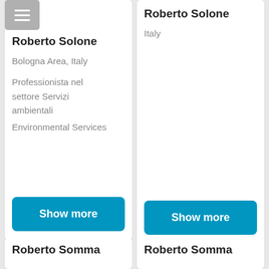[Figure (screenshot): Menu button with three horizontal lines (hamburger icon) on grey background]
Roberto Solone
Bologna Area, Italy
Professionista nel settore Servizi ambientali
Environmental Services
Show more
Roberto Solone
Italy
Show more
[Figure (illustration): Back to top chevron/arrow icon pointing upward]
Roberto Somma
Roberto Somma